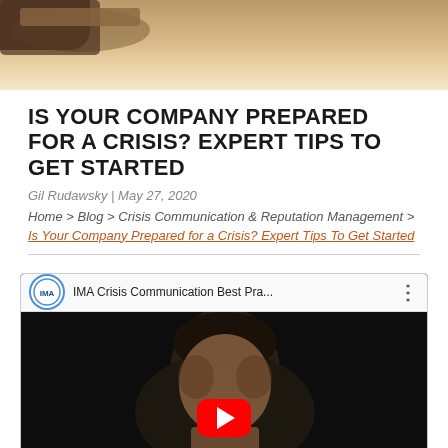[Figure (photo): Hero image: close-up of a rolled or folded document/scroll with warm tan/brown tones]
IS YOUR COMPANY PREPARED FOR A CRISIS? EXPERT TIPS TO GET STARTED
Gil Rudawsky | May 27, 2020
Home > Blog > Crisis Communication & Reputation Management > Is Your Company Prepared for a Crisis? Expert Tips To Get Started
[Figure (screenshot): YouTube video embed: IMA Crisis Communication Best Pra... with a man's face visible and a red YouTube play button overlay]